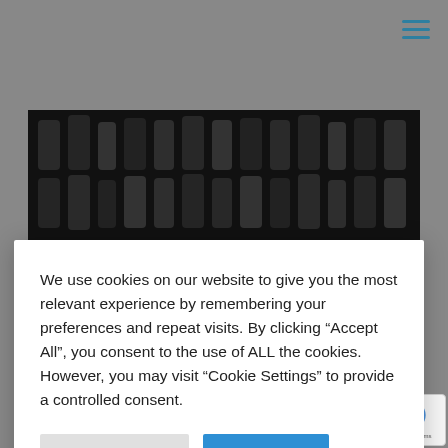[Figure (screenshot): Dark header bar with hamburger/menu icon on the right side, teal colored three horizontal lines]
[Figure (photo): Dark abstract image, appears to show black/dark metallic objects or typography in a repeating pattern]
We use cookies on our website to give you the most relevant experience by remembering your preferences and repeat visits. By clicking “Accept All”, you consent to the use of ALL the cookies. However, you may visit “Cookie Settings” to provide a controlled consent.
Cookie Settings | Accept All
We were recently asked to provide public speaking skills training to an executive who was going to speaking on a platform that was surrounded on all side by the aud What in theatre is known as ‘presenting in the roun